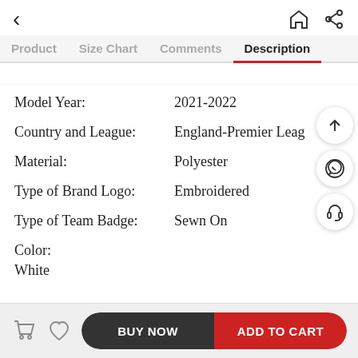< [back] [home] [share]
Product | Size Chart | Comments | Description
Model Year: 2021-2022
Country and League: England-Premier League
Material: Polyester
Type of Brand Logo: Embroidered
Type of Team Badge: Sewn On
Color: White
BUY NOW | ADD TO CART